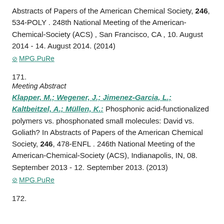Abstracts of Papers of the American Chemical Society, 246, 534-POLY . 248th National Meeting of the American-Chemical-Society (ACS) , San Francisco, CA , 10. August 2014 - 14. August 2014. (2014)
⊘ MPG.PuRe
171.
Meeting Abstract
Klapper, M.; Wegener, J.; Jimenez-Garcia, L.; Kaltbeitzel, A.; Müllen, K.: Phosphonic acid-functionalized polymers vs. phosphonated small molecules: David vs. Goliath? In Abstracts of Papers of the American Chemical Society, 246, 478-ENFL . 246th National Meeting of the American-Chemical-Society (ACS), Indianapolis, IN, 08. September 2013 - 12. September 2013. (2013)
⊘ MPG.PuRe
172.